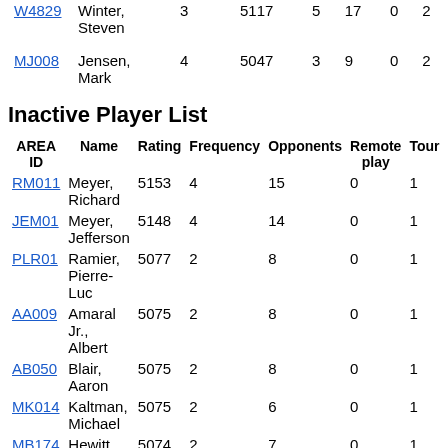| AREA ID | Name | Rating | Frequency | Opponents | Remote play | Tour |
| --- | --- | --- | --- | --- | --- | --- |
| W4829 | Winter, Steven | 3 | 5117 | 5 | 17 | 0 | 2 |
| MJ008 | Jensen, Mark | 4 | 5047 | 3 | 9 | 0 | 2 |
Inactive Player List
| AREA ID | Name | Rating | Frequency | Opponents | Remote play | Tour |
| --- | --- | --- | --- | --- | --- | --- |
| RM011 | Meyer, Richard | 5153 | 4 | 15 | 0 | 1 |
| JEM01 | Meyer, Jefferson | 5148 | 4 | 14 | 0 | 1 |
| PLR01 | Ramier, Pierre-Luc | 5077 | 2 | 8 | 0 | 1 |
| AA009 | Amaral Jr., Albert | 5075 | 2 | 8 | 0 | 1 |
| AB050 | Blair, Aaron | 5075 | 2 | 8 | 0 | 1 |
| MK014 | Kaltman, Michael | 5075 | 2 | 6 | 0 | 1 |
| MB174 | Hewitt, | 5074 | 2 | 7 | 0 | 1 |